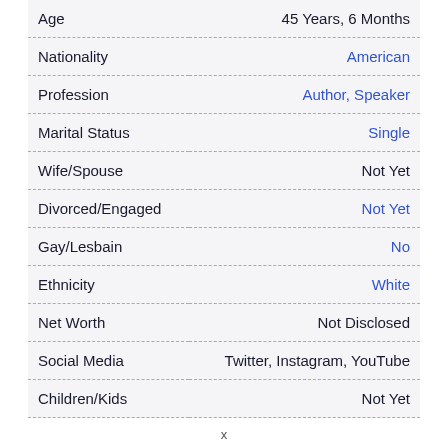| Field | Value |
| --- | --- |
| Age | 45 Years, 6 Months |
| Nationality | American |
| Profession | Author, Speaker |
| Marital Status | Single |
| Wife/Spouse | Not Yet |
| Divorced/Engaged | Not Yet |
| Gay/Lesbain | No |
| Ethnicity | White |
| Net Worth | Not Disclosed |
| Social Media | Twitter, Instagram, YouTube |
| Children/Kids | Not Yet |